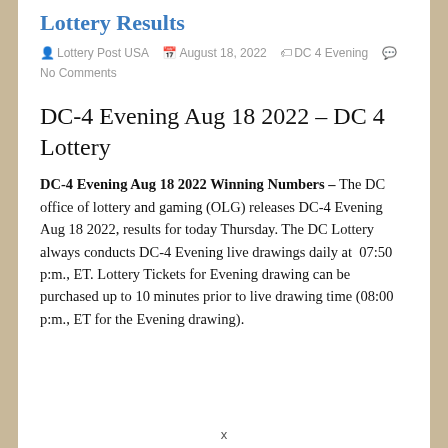Lottery Results
Lottery Post USA   August 18, 2022   DC 4 Evening   No Comments
DC-4 Evening Aug 18 2022 – DC 4 Lottery
DC-4 Evening Aug 18 2022 Winning Numbers – The DC office of lottery and gaming (OLG) releases DC-4 Evening Aug 18 2022, results for today Thursday. The DC Lottery always conducts DC-4 Evening live drawings daily at  07:50 p:m., ET. Lottery Tickets for Evening drawing can be purchased up to 10 minutes prior to live drawing time (08:00 p:m., ET for the Evening drawing).
x